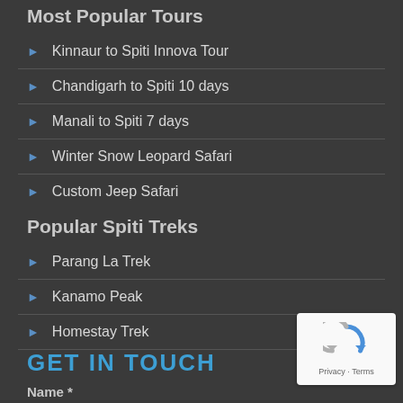Most Popular Tours
Kinnaur to Spiti Innova Tour
Chandigarh to Spiti 10 days
Manali to Spiti 7 days
Winter Snow Leopard Safari
Custom Jeep Safari
Popular Spiti Treks
Parang La Trek
Kanamo Peak
Homestay Trek
GET IN TOUCH
Name *
[Figure (logo): reCAPTCHA logo with circular arrows icon and Privacy/Terms text]